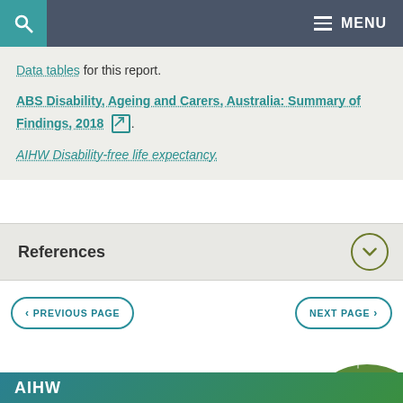MENU
Data tables for this report.
ABS Disability, Ageing and Carers, Australia: Summary of Findings, 2018 [external link].
AIHW Disability-free life expectancy.
References
< PREVIOUS PAGE
NEXT PAGE >
Last updated 24/08/2022 v21.0
AIHW